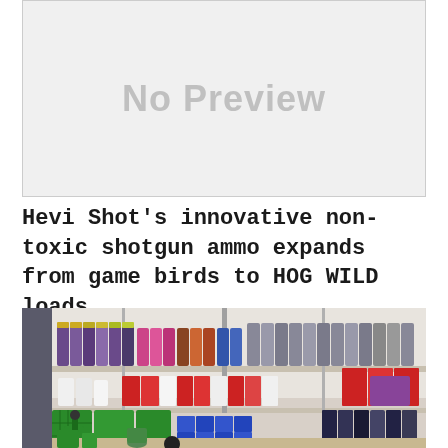[Figure (other): Gray placeholder box with 'No Preview' text in light gray]
Hevi Shot's innovative non-toxic shotgun ammo expands from game birds to HOG WILD loads
[Figure (photo): Photo of reloading/ammunition supplies on shelves: rows of powder bottles (various colors) on upper shelf, green reloading trays, red and white ammunition boxes on middle shelf, and reloading press equipment and blue bins on a table in the foreground]